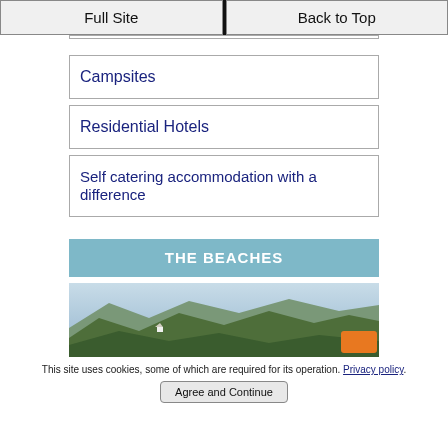Full Site | Back to Top
Campsites
Residential Hotels
Self catering accommodation with a difference
THE BEACHES
[Figure (photo): Mountain landscape with green forested hills and a small white building visible on a ridge]
This site uses cookies, some of which are required for its operation. Privacy policy.
Agree and Continue